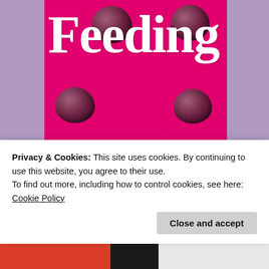[Figure (photo): Book cover of 'Feeding the Gods' — hot pink/magenta background with a 3x2 grid of chocolate pieces overlaid with large white serif title text reading 'Feeding the Gods']
Privacy & Cookies: This site uses cookies. By continuing to use this website, you agree to their use.
To find out more, including how to control cookies, see here: Cookie Policy